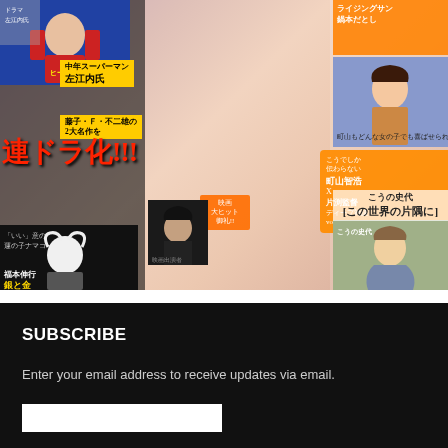[Figure (photo): Manga Action January 17 2017 magazine cover featuring Takahashi Juri (AKB48). Cover shows Japanese manga magazine with cover model, manga character illustrations, and various Japanese text overlays including red kanji title, yellow text, orange promotional boxes, and manga artwork panels.]
Manga Action January 17, 2017 Issue [Cover] Takahashi Juri (AKB48)
Futabasha
SUBSCRIBE
Enter your email address to receive updates via email.